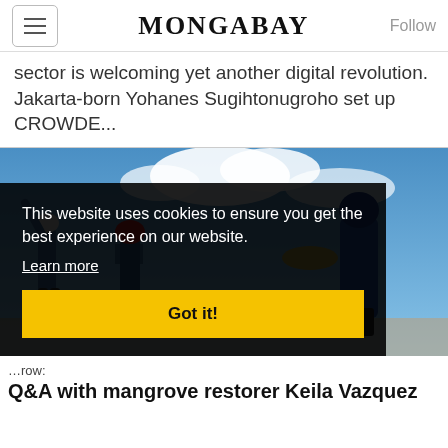MONGABAY
sector is welcoming yet another digital revolution. Jakarta-born Yohanes Sugihtonugroho set up CROWDE...
[Figure (photo): Outdoor photo with people working, possibly planting mangroves, with blue sky and clouds. Cookie consent banner overlaid on lower left.]
This website uses cookies to ensure you get the best experience on our website. Learn more Got it!
row: Q&A with mangrove restorer Keila Vazquez